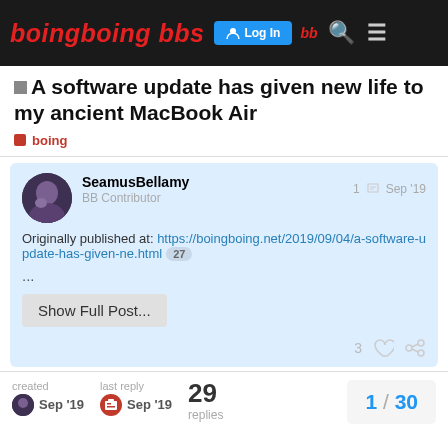boingboing bbs — Log In
A software update has given new life to my ancient MacBook Air
boing
SeamusBellamy
BB Contributor
1  Sep '19
Originally published at: https://boingboing.net/2019/09/04/a-software-update-has-given-ne.html  27
...
Show Full Post...
3
created Sep '19   last reply Sep '19   29 replies   1 / 30